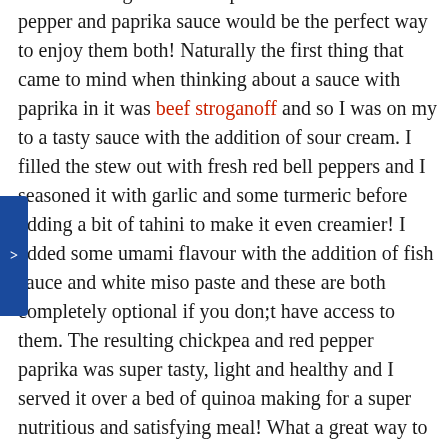I was thinking that a chickpea stew in a roasted red pepper and paprika sauce would be the perfect way to enjoy them both! Naturally the first thing that came to mind when thinking about a sauce with paprika in it was beef stroganoff and so I was on my to a tasty sauce with the addition of sour cream. I filled the stew out with fresh red bell peppers and I seasoned it with garlic and some turmeric before adding a bit of tahini to make it even creamier! I added some umami flavour with the addition of fish sauce and white miso paste and these are both completely optional if you don;t have access to them. The resulting chickpea and red pepper paprika was super tasty, light and healthy and I served it over a bed of quinoa making for a super nutritious and satisfying meal! What a great way to celebrate Global Pulse Day!